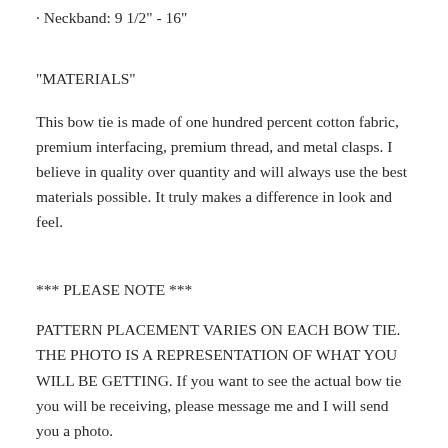· Neckband: 9 1/2" - 16"
"MATERIALS"
This bow tie is made of one hundred percent cotton fabric, premium interfacing, premium thread, and metal clasps. I believe in quality over quantity and will always use the best materials possible. It truly makes a difference in look and feel.
*** PLEASE NOTE ***
PATTERN PLACEMENT VARIES ON EACH BOW TIE. THE PHOTO IS A REPRESENTATION OF WHAT YOU WILL BE GETTING. If you want to see the actual bow tie you will be receiving, please message me and I will send you a photo.